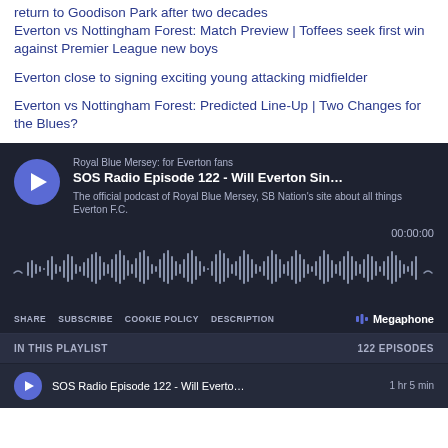return to Goodison Park after two decades
Everton vs Nottingham Forest: Match Preview | Toffees seek first win against Premier League new boys
Everton close to signing exciting young attacking midfielder
Everton vs Nottingham Forest: Predicted Line-Up | Two Changes for the Blues?
[Figure (screenshot): Megaphone podcast player widget for Royal Blue Mersey podcast, showing SOS Radio Episode 122 - Will Everton Sin..., with play button, waveform visualization, timestamp 00:00:00, controls (Share, Subscribe, Cookie Policy, Description), Megaphone branding, playlist bar showing IN THIS PLAYLIST / 122 EPISODES, and episode row for SOS Radio Episode 122 - Will Everto... 1 hr 5 min]